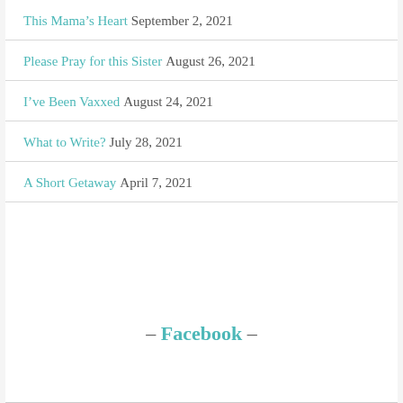This Mama's Heart September 2, 2021
Please Pray for this Sister August 26, 2021
I've Been Vaxxed August 24, 2021
What to Write? July 28, 2021
A Short Getaway April 7, 2021
- Facebook -